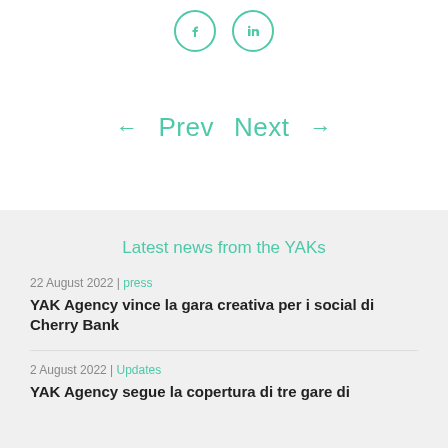[Figure (other): Two circular social media icons (Facebook and LinkedIn) with teal/green outlines]
← Prev  Next →
Latest news from the YAKs
22 August 2022 | press
YAK Agency vince la gara creativa per i social di Cherry Bank
2 August 2022 | Updates
YAK Agency segue la copertura di tre gare di